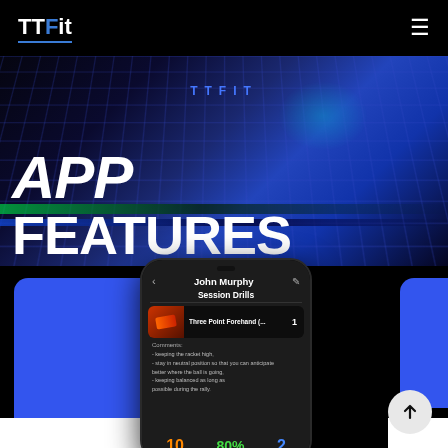TTFit
APP FEATURES
[Figure (screenshot): Mobile phone screenshot showing TTFit app Session Drills screen with John Murphy's name, Three Point Forehand drill with comments about keeping the racket high, staying in neutral position, keeping balanced, and stats showing 10, 80%, and 2]
[Figure (other): Blue rounded card panels flanking the phone mockup]